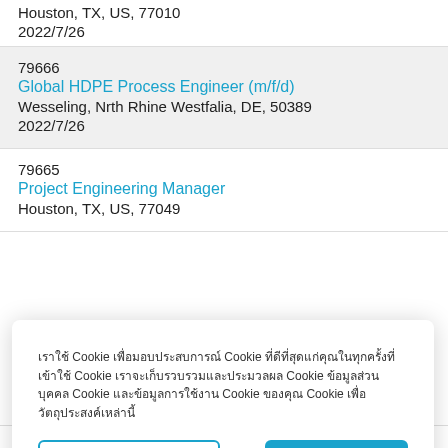Houston, TX, US, 77010
2022/7/26
79666
Global HDPE Process Engineer (m/f/d)
Wesseling, Nrth Rhine Westfalia, DE, 50389
2022/7/26
79665
Project Engineering Manager
Houston, TX, US, 77049
เราใช้ Cookie เพื่อมอบประสบการณ์ Cookie ที่ดีที่สุดแก่คุณในทุกครั้งที่เข้าใช้ Cookie เราจะเก็บรวบรวมและประมวลผล Cookie ข้อมูลส่วนบุคคล Cookie และข้อมูลการใช้งาน Cookie ของคุณ Cookie เพื่อวัตถุประสงค์เหล่านี้
จัดการ Cookie การตั้งค่า
ยอมรับ Cookie
Roussillon, Provence alpes Rhône, FR, 13181